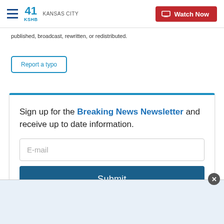41 KSHB KANSAS CITY | Watch Now
published, broadcast, rewritten, or redistributed.
Report a typo
Sign up for the Breaking News Newsletter and receive up to date information.
[Figure (screenshot): Email input field with placeholder text 'E-mail' and a Submit button below it, inside a newsletter signup box with a blue top border.]
[Figure (other): Advertisement area at the bottom of the page with a close (X) button in the upper-right corner.]